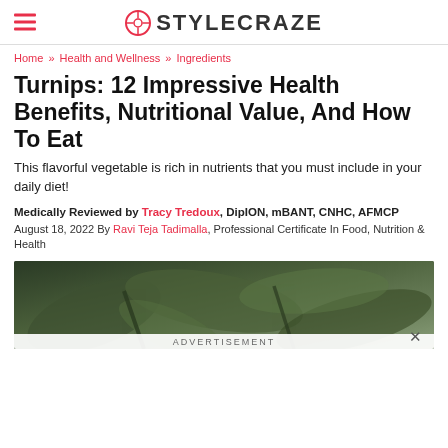STYLECRAZE
Home » Health and Wellness » Ingredients
Turnips: 12 Impressive Health Benefits, Nutritional Value, And How To Eat
This flavorful vegetable is rich in nutrients that you must include in your daily diet!
Medically Reviewed by Tracy Tredoux, DipION, mBANT, CNHC, AFMCP
August 18, 2022 By Ravi Teja Tadimalla, Professional Certificate In Food, Nutrition & Health
[Figure (photo): Close-up photo of green turnip leaves/vegetables]
ADVERTISEMENT